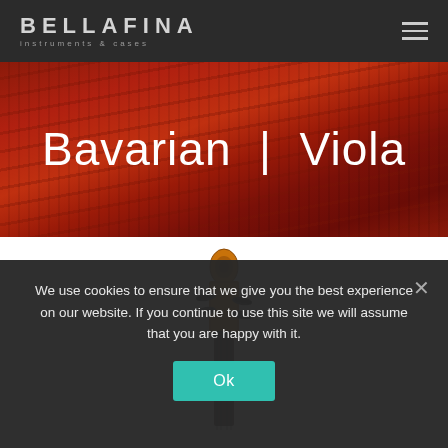BELLAFINA instruments & cases
Bavarian | Viola
[Figure (photo): Close-up front view of a viola scroll and pegbox with tuning pegs, showing the top of the instrument from above against a white background]
We use cookies to ensure that we give you the best experience on our website. If you continue to use this site we will assume that you are happy with it.